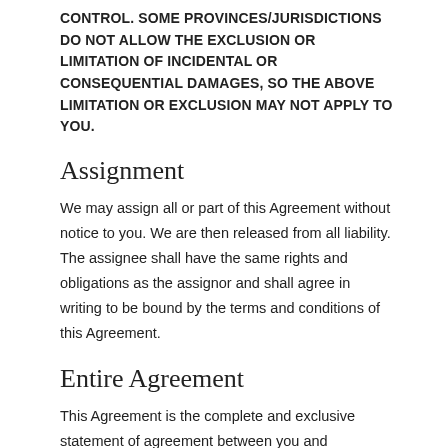CONTROL. SOME PROVINCES/JURISDICTIONS DO NOT ALLOW THE EXCLUSION OR LIMITATION OF INCIDENTAL OR CONSEQUENTIAL DAMAGES, SO THE ABOVE LIMITATION OR EXCLUSION MAY NOT APPLY TO YOU.
Assignment
We may assign all or part of this Agreement without notice to you. We are then released from all liability. The assignee shall have the same rights and obligations as the assignor and shall agree in writing to be bound by the terms and conditions of this Agreement.
Entire Agreement
This Agreement is the complete and exclusive statement of agreement between you and McDonald's, and supersedes and merges all prior proposals and all other agreements. In the event that any provision of this Agreement shall be determined to be illegal or unenforceable, that provision will be eliminated to the